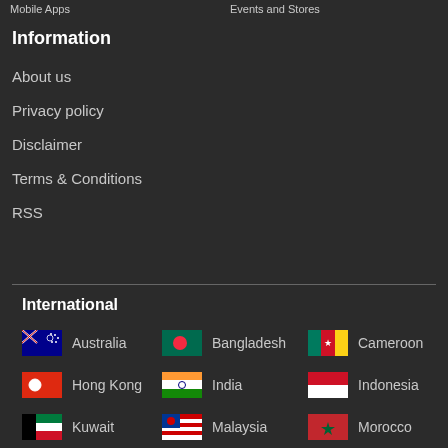Mobile Apps   Events and Stores
Information
About us
Privacy policy
Disclaimer
Terms & Conditions
RSS
International
Australia
Bangladesh
Cameroon
Hong Kong
India
Indonesia
Kuwait
Malaysia
Morocco
Philippines
Saudi Arabia
Singapore